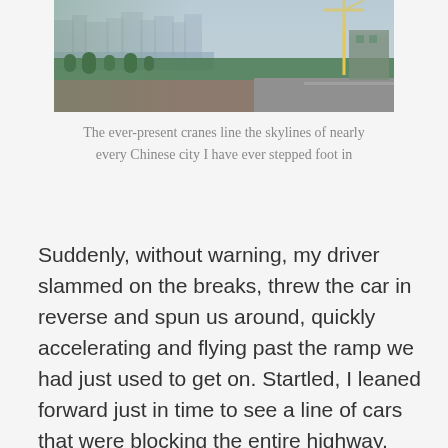[Figure (photo): Aerial or street-level view of a Chinese city with cranes visible on the skyline, waterfront area with trees and a road, misty city buildings in the background]
The ever-present cranes line the skylines of nearly every Chinese city I have ever stepped foot in
Suddenly, without warning, my driver slammed on the breaks, threw the car in reverse and spun us around, quickly accelerating and flying past the ramp we had just used to get on. Startled, I leaned forward just in time to see a line of cars that were blocking the entire highway, sitting at a standstill. Apparently my driver was trying to save us from hours in this traffic jam, but as a result we were cruising the wrong way down the highway at 70 MPH. I sat deeper in my seat and thought, what the hell are we doing?